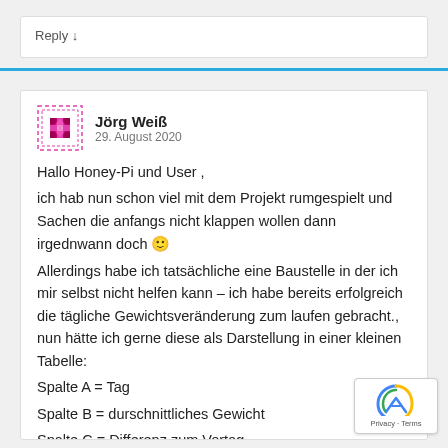Reply ↓
Jörg Weiß
29. August 2020
Hallo Honey-Pi und User ,
ich hab nun schon viel mit dem Projekt rumgespielt und Sachen die anfangs nicht klappen wollen dann irgednwann doch 🙂
Allerdings habe ich tatsächliche eine Baustelle in der ich mir selbst nicht helfen kann – ich habe bereits erfolgreich die tägliche Gewichtsveränderung zum laufen gebracht., nun hätte ich gerne diese als Darstellung in einer kleinen Tabelle:
Spalte A = Tag
Spalte B = durschnittliches Gewicht
Spalte C = Differenz zum Vortag
Also eigentlich ganz simpel aber für mich nicht umsetzb... ich mit MatLab keine Erfahrungen habe.